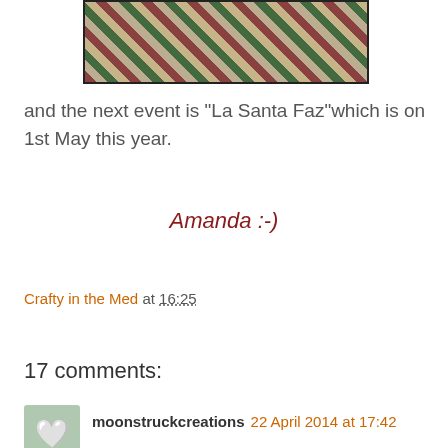[Figure (photo): A cropped photo showing decorative floral/festive items, partially visible at top of page]
and the next event is "La Santa Faz"which is on 1st May this year.
Amanda :-)
Crafty in the Med at 16:25
Share
17 comments:
moonstruckcreations 22 April 2014 at 17:42